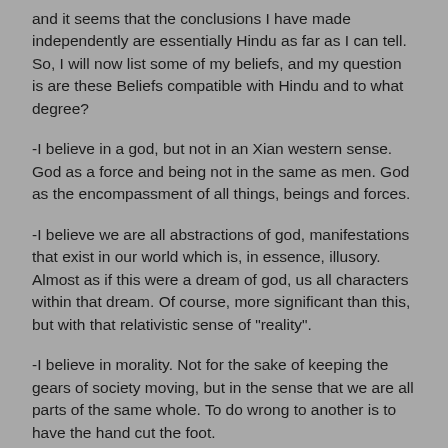and it seems that the conclusions I have made independently are essentially Hindu as far as I can tell. So, I will now list some of my beliefs, and my question is are these Beliefs compatible with Hindu and to what degree?
-I believe in a god, but not in an Xian western sense. God as a force and being not in the same as men. God as the encompassment of all things, beings and forces.
-I believe we are all abstractions of god, manifestations that exist in our world which is, in essence, illusory. Almost as if this were a dream of god, us all characters within that dream. Of course, more significant than this, but with that relativistic sense of "reality".
-I believe in morality. Not for the sake of keeping the gears of society moving, but in the sense that we are all parts of the same whole. To do wrong to another is to have the hand cut the foot.